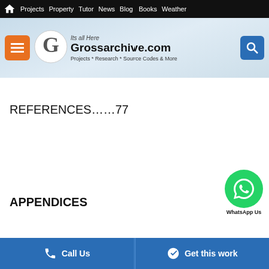Projects  Property  Tutor  News  Blog  Books  Weather
[Figure (logo): Grossarchive.com logo with orange G circle, site name, tagline 'Projects * Research * Source Codes & More', and 'Its all Here' text]
REFERENCES......77
APPENDICES
Call Us   Get this work   WhatsApp Us